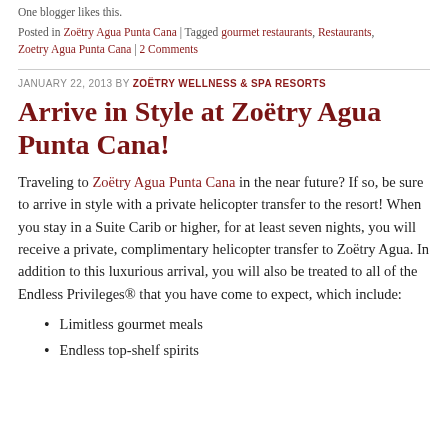One blogger likes this.
Posted in Zoëtry Agua Punta Cana | Tagged gourmet restaurants, Restaurants, Zoetry Agua Punta Cana | 2 Comments
JANUARY 22, 2013 BY ZOËTRY WELLNESS & SPA RESORTS
Arrive in Style at Zoëtry Agua Punta Cana!
Traveling to Zoëtry Agua Punta Cana in the near future? If so, be sure to arrive in style with a private helicopter transfer to the resort!  When you stay in a Suite Carib or higher, for at least seven nights, you will receive a private, complimentary helicopter transfer to Zoëtry Agua.  In addition to this luxurious arrival, you will also be treated to all of the Endless Privileges® that you have come to expect, which include:
Limitless gourmet meals
Endless top-shelf spirits